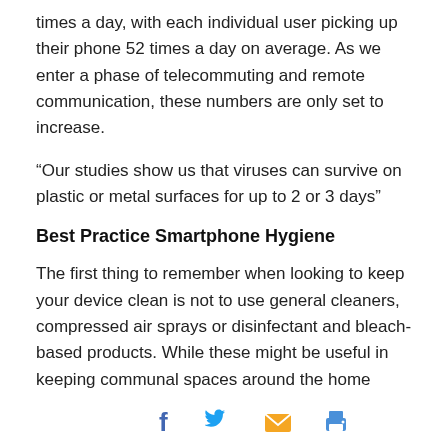times a day, with each individual user picking up their phone 52 times a day on average. As we enter a phase of telecommuting and remote communication, these numbers are only set to increase.
“Our studies show us that viruses can survive on plastic or metal surfaces for up to 2 or 3 days”
Best Practice Smartphone Hygiene
The first thing to remember when looking to keep your device clean is not to use general cleaners, compressed air sprays or disinfectant and bleach-based products. While these might be useful in keeping communal spaces around the home hygienic, these solutions can peel off or damage the oleophobic coating layer over your smartphone’s display that shields the sc…udging.